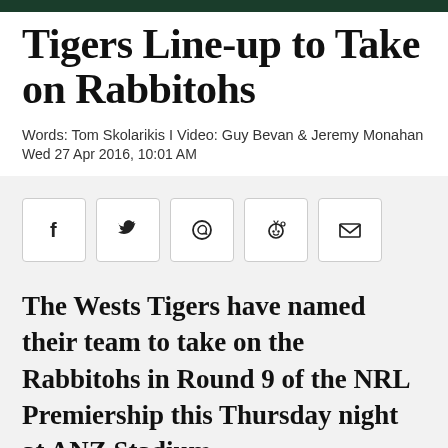Tigers Line-up to Take on Rabbitohs
Words: Tom Skolarikis I Video: Guy Bevan & Jeremy Monahan
Wed 27 Apr 2016, 10:01 AM
[Figure (infographic): Social media share buttons: Facebook, Twitter, WhatsApp, Reddit, Email]
The Wests Tigers have named their team to take on the Rabbitohs in Round 9 of the NRL Premiership this Thursday night at ANZ Stadium.